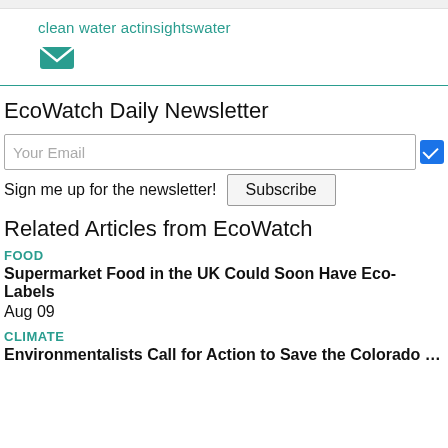clean water actinsightswater
[Figure (illustration): Green envelope icon representing email/contact]
EcoWatch Daily Newsletter
Your Email
Sign me up for the newsletter! Subscribe
Related Articles from EcoWatch
FOOD
Supermarket Food in the UK Could Soon Have Eco-Labels
Aug 09
CLIMATE
Environmentalists Call for Action to Save the Colorado River Fro...